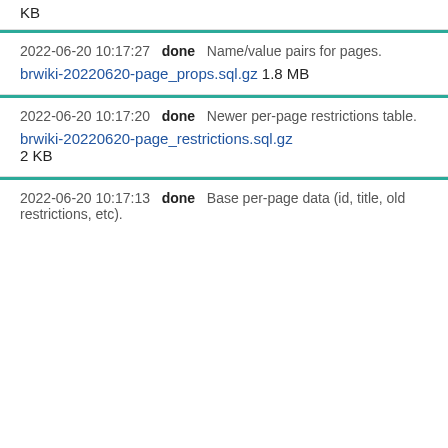KB
2022-06-20 10:17:27   done   Name/value pairs for pages.
brwiki-20220620-page_props.sql.gz 1.8 MB
2022-06-20 10:17:20   done   Newer per-page restrictions table.
brwiki-20220620-page_restrictions.sql.gz 2 KB
2022-06-20 10:17:13   done   Base per-page data (id, title, old restrictions, etc).